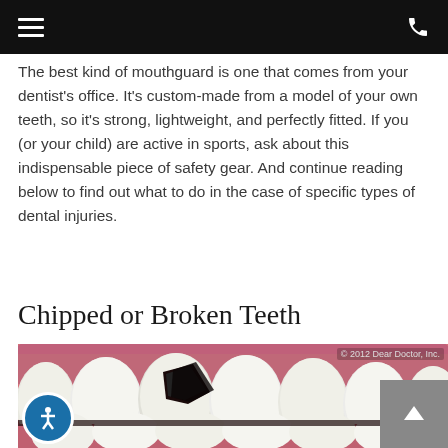Navigation header with hamburger menu and phone icon
The best kind of mouthguard is one that comes from your dentist's office. It's custom-made from a model of your own teeth, so it's strong, lightweight, and perfectly fitted. If you (or your child) are active in sports, ask about this indispensable piece of safety gear. And continue reading below to find out what to do in the case of specific types of dental injuries.
Chipped or Broken Teeth
[Figure (illustration): Medical illustration of a close-up view of upper and lower front teeth showing a chipped or broken front tooth. The illustration shows the teeth from the front, with one upper central incisor having a chip/break visible. Copyright 2012 Dear Doctor, Inc.]
© 2012 Dear Doctor, Inc.